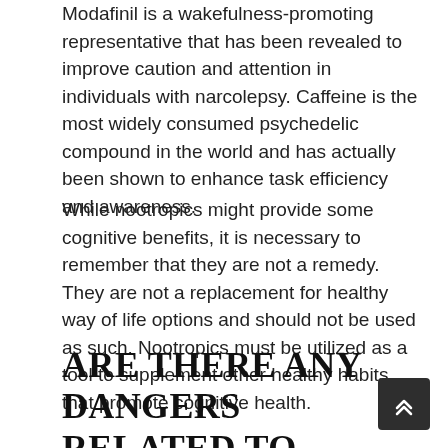Modafinil is a wakefulness-promoting representative that has been revealed to improve caution and attention in individuals with narcolepsy. Caffeine is the most widely consumed psychedelic compound in the world and has actually been shown to enhance task efficiency and awareness.
While nootropics might provide some cognitive benefits, it is necessary to remember that they are not a remedy. They are not a replacement for healthy way of life options and should not be used as such. Nootropics must be utilized as a tool to supplement other healthy habits that promote cognitive health.
ARE THERE ANY DANGERS RELATED TO TAKING NOOTROPICS SUPPLEMENTS